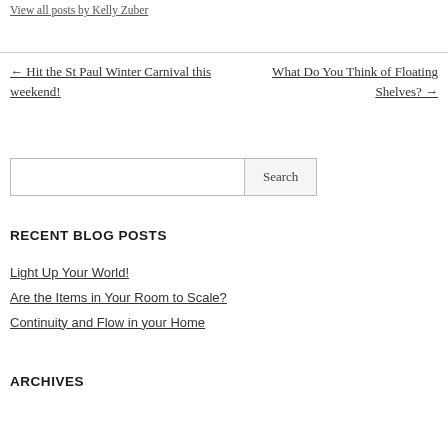View all posts by Kelly Zuber
← Hit the St Paul Winter Carnival this weekend!
What Do You Think of Floating Shelves? →
Search
RECENT BLOG POSTS
Light Up Your World!
Are the Items in Your Room to Scale?
Continuity and Flow in your Home
ARCHIVES
Select Month